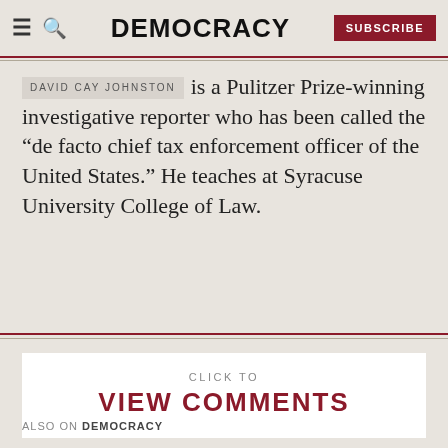DEMOCRACY | SUBSCRIBE
DAVID CAY JOHNSTON is a Pulitzer Prize-winning investigative reporter who has been called the “de facto chief tax enforcement officer of the United States.” He teaches at Syracuse University College of Law.
CLICK TO VIEW COMMENTS
ALSO ON DEMOCRACY